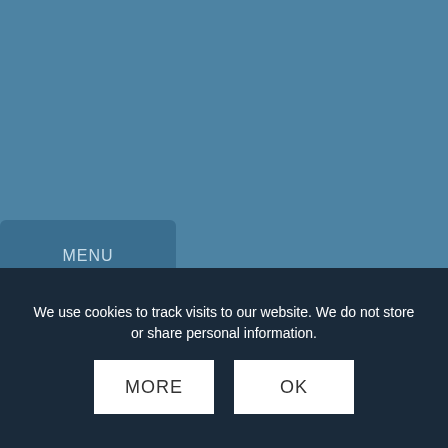[Figure (screenshot): Blue header background with MENU button]
VIRTUAL EYE NEWS
VIRTUAL EYE - ROLEX FARR 40 WORLD CHAMPIONSHIP
We use cookies to track visits to our website. We do not store or share personal information.
MORE
OK